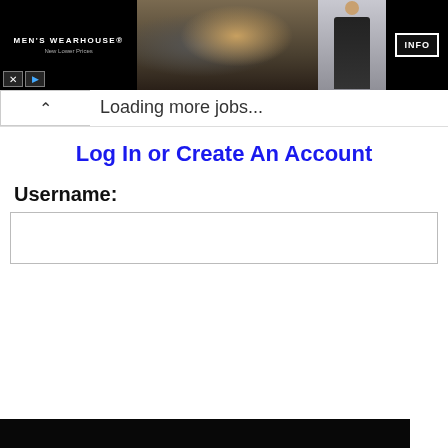[Figure (screenshot): Men's Wearhouse advertisement banner showing a couple in formal wear, a man in a suit, with INFO button and logo]
Loading more jobs...
Log In or Create An Account
Username:
[Figure (screenshot): Cookie consent overlay with text: This website uses cookies to ensure you get the best experience on our website. Learn more. Got it! button.]